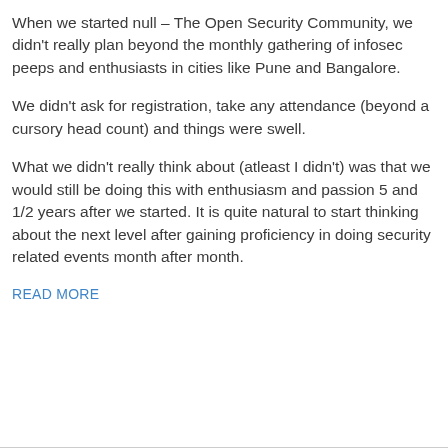When we started null – The Open Security Community, we didn’t really plan beyond the monthly gathering of infosec peeps and enthusiasts in cities like Pune and Bangalore.
We didn’t ask for registration, take any attendance (beyond a cursory head count) and things were swell.
What we didn’t really think about (atleast I didn’t) was that we would still be doing this with enthusiasm and passion 5 and 1/2 years after we started. It is quite natural to start thinking about the next level after gaining proficiency in doing security related events month after month.
READ MORE